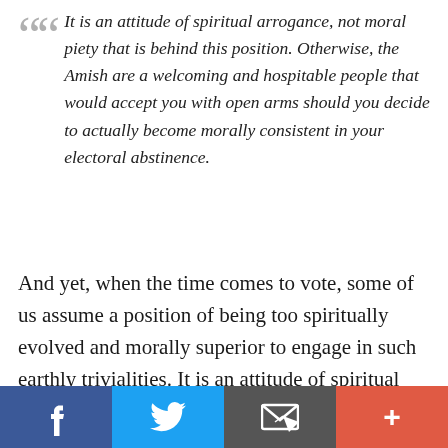It is an attitude of spiritual arrogance, not moral piety that is behind this position. Otherwise, the Amish are a welcoming and hospitable people that would accept you with open arms should you decide to actually become morally consistent in your electoral abstinence.
And yet, when the time comes to vote, some of us assume a position of being too spiritually evolved and morally superior to engage in such earthly trivialities. It is an attitude of spiritual arrogance,